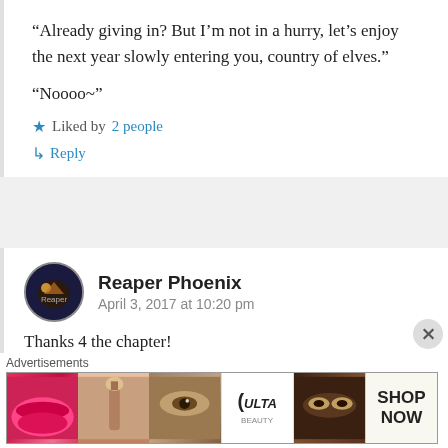“Already giving in? But I’m not in a hurry, let’s enjoy the next year slowly entering you, country of elves.”
“Noooo~”
★ Liked by 2 people
↵ Reply
Reaper Phoenix
April 3, 2017 at 10:20 pm
Thanks 4 the chapter!
Advertisements
[Figure (photo): Ulta Beauty advertisement banner showing beauty/makeup images and SHOP NOW call to action]